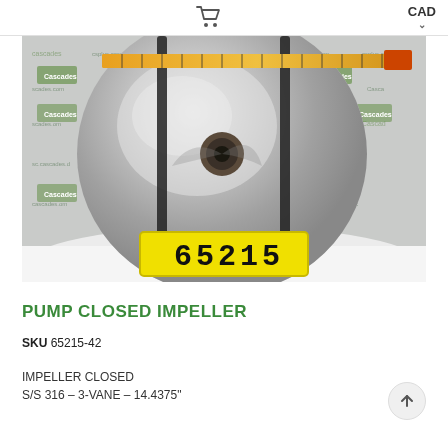CAD
[Figure (photo): Photograph of a stainless steel pump closed impeller, circular disc shape with center bore, photographed against a Cascades branded backdrop with a measuring tape across the top. A yellow identification tag reading '65215' is visible at the bottom of the image.]
PUMP CLOSED IMPELLER
SKU 65215-42
IMPELLER CLOSED
S/S 316 - 3-VANE - 14.4375"